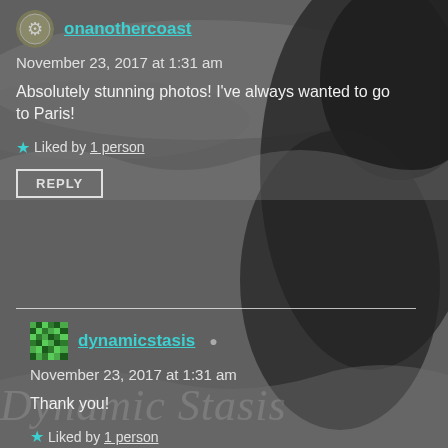[Figure (photo): Dark grayscale rocky ocean coastline background with waves. Watermark text 'Dynamic Stasis' visible in lower portion.]
onanothercoast
November 23, 2017 at 1:31 am
Absolutely stunning photos! I've always wanted to go to Paris!
★ Liked by 1 person
REPLY
dynamicstasis
November 23, 2017 at 1:31 am
Thank you!
★ Liked by 1 person
REPLY